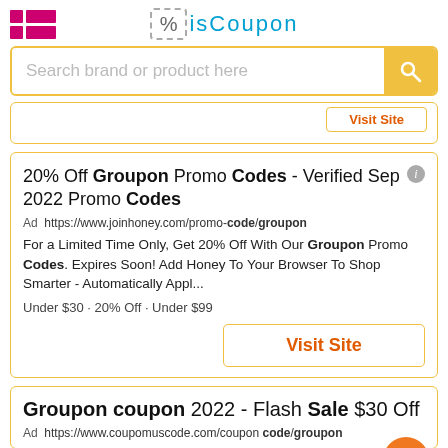[Figure (logo): isCoupon website logo with pink grid icon on left and percent sign in dashed box with colored text on center]
Search brand or product here
20% Off Groupon Promo Codes - Verified Sep 2022 Promo Codes
Ad https://www.joinhoney.com/promo-code/groupon
For a Limited Time Only, Get 20% Off With Our Groupon Promo Codes. Expires Soon! Add Honey To Your Browser To Shop Smarter - Automatically Appl...
Under $30 · 20% Off · Under $99
Visit Site
Groupon coupon 2022 - Flash Sale $30 Off
Ad https://www.coupomuscode.com/coupon code/groupon